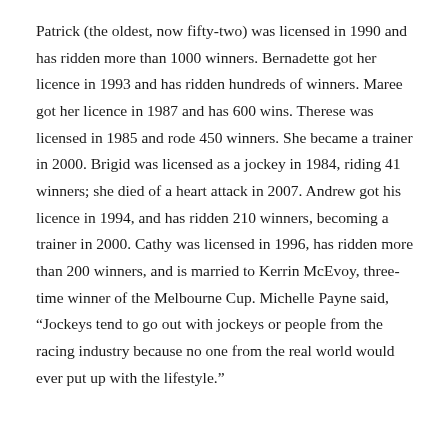Patrick (the oldest, now fifty-two) was licensed in 1990 and has ridden more than 1000 winners. Bernadette got her licence in 1993 and has ridden hundreds of winners. Maree got her licence in 1987 and has 600 wins. Therese was licensed in 1985 and rode 450 winners. She became a trainer in 2000. Brigid was licensed as a jockey in 1984, riding 41 winners; she died of a heart attack in 2007. Andrew got his licence in 1994, and has ridden 210 winners, becoming a trainer in 2000. Cathy was licensed in 1996, has ridden more than 200 winners, and is married to Kerrin McEvoy, three-time winner of the Melbourne Cup. Michelle Payne said, “Jockeys tend to go out with jockeys or people from the racing industry because no one from the real world would ever put up with the lifestyle.”